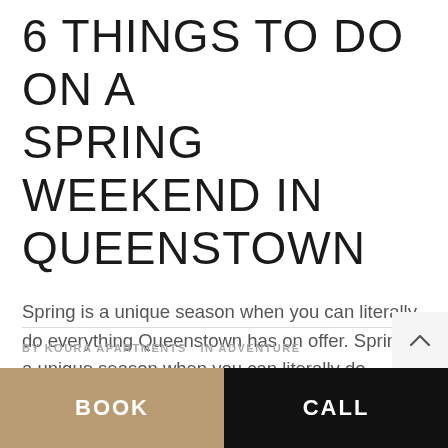6 THINGS TO DO ON A SPRING WEEKEND IN QUEENSTOWN
Spring is a unique season when you can literally do everything Queenstown has on offer. Spring is a unique season when you can literally do everything Queenstown has on offer. The hiking trails and ski fields are open, so whether you’re enjoying spring skiing, cycling, hiking or golfing you can pack a lot of adventure...
BY KOURA APARTMENTS IN ADVENTURE | BOOK | CALL